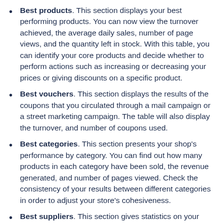Best products. This section displays your best performing products. You can now view the turnover achieved, the average daily sales, number of page views, and the quantity left in stock. With this table, you can identify your core products and decide whether to perform actions such as increasing or decreasing your prices or giving discounts on a specific product.
Best vouchers. This section displays the results of the coupons that you circulated through a mail campaign or a street marketing campaign. The table will also display the turnover, and number of coupons used.
Best categories. This section presents your shop's performance by category. You can find out how many products in each category have been sold, the revenue generated, and number of pages viewed. Check the consistency of your results between different categories in order to adjust your store's cohesiveness.
Best suppliers. This section gives statistics on your suppliers by providing the quantities sold and the revenue generated.
Carrier distribution. This page indicates which carriers are used most by your visitors. You can filter all results by order status. If you learn that a carrier is not often used...